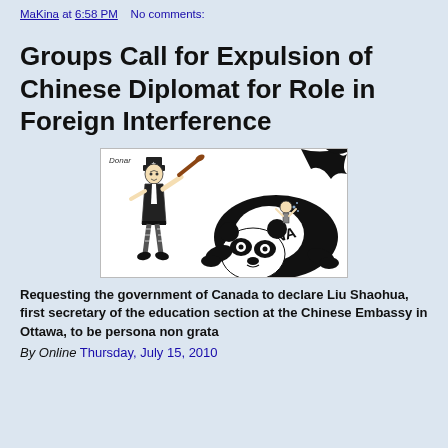MaKina at 6:58 PM   No comments:
Groups Call for Expulsion of Chinese Diplomat for Role in Foreign Interference
[Figure (illustration): Political cartoon showing Uncle Sam figure with baseball bat facing a large panda bear labeled 'CHINA' with a small distressed person on its back. Artist signature 'Donar' in top left.]
Requesting the government of Canada to declare Liu Shaohua, first secretary of the education section at the Chinese Embassy in Ottawa, to be persona non grata
By Online   Thursday, July 15, 2010